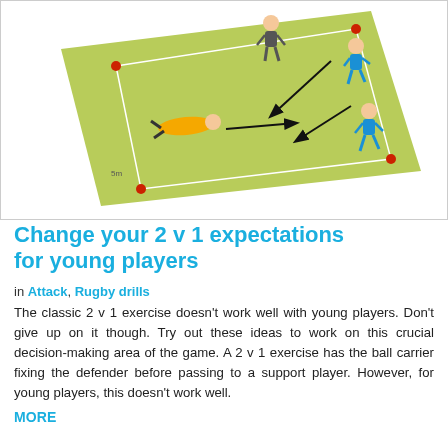[Figure (illustration): A rugby/football drill diagram showing a green pitch rectangle with red corner markers. Three players are illustrated: one in grey lying/diving with a yellow jersey with an arrow pointing right, one in dark grey walking at the top, and two in blue jerseys on the right side. Black arrows indicate ball movement directions on the field.]
Change your 2 v 1 expectations for young players
in Attack, Rugby drills
The classic 2 v 1 exercise doesn't work well with young players. Don't give up on it though. Try out these ideas to work on this crucial decision-making area of the game. A 2 v 1 exercise has the ball carrier fixing the defender before passing to a support player. However, for young players, this doesn't work well.
MORE